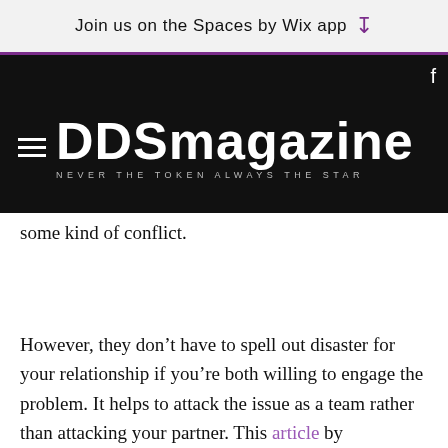Join us on the Spaces by Wix app ↓
[Figure (screenshot): DDSmagazine navigation bar with hamburger menu, Facebook and Instagram icons, logo text 'DDSmagazine' and tagline 'NEVER THE TOKEN ALWAYS THE STAR' on black background]
way to
hese
to
some kind of conflict.
However, they don't have to spell out disaster for your relationship if you're both willing to engage the problem. It helps to attack the issue as a team rather than attacking your partner. This article by psychology today does an excellent job of presenting tips on how to tackle conflict as a couple. When you confront yellow flag behaviors in a